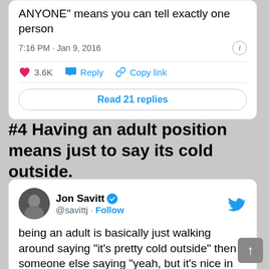ANYONE" means you can tell exactly one person
7:16 PM · Jan 9, 2016
3.6K  Reply  Copy link
Read 21 replies
#4 Having an adult position means just to say its cold outside.
Jon Savitt @savittj · Follow
being an adult is basically just walking around saying "it's pretty cold outside" then someone else saying "yeah, but it's nice in the sun"
3:55 PM · Jan 7, 2018